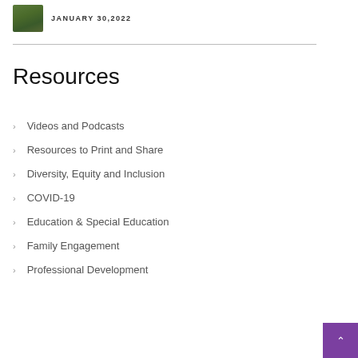JANUARY 30, 2022
Resources
Videos and Podcasts
Resources to Print and Share
Diversity, Equity and Inclusion
COVID-19
Education & Special Education
Family Engagement
Professional Development